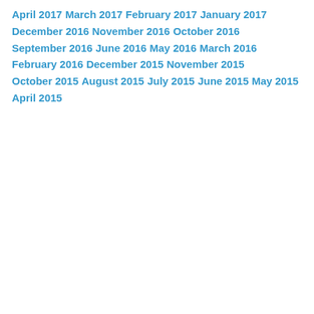April 2017
March 2017
February 2017
January 2017
December 2016
November 2016
October 2016
September 2016
June 2016
May 2016
March 2016
February 2016
December 2015
November 2015
October 2015
August 2015
July 2015
June 2015
May 2015
April 2015